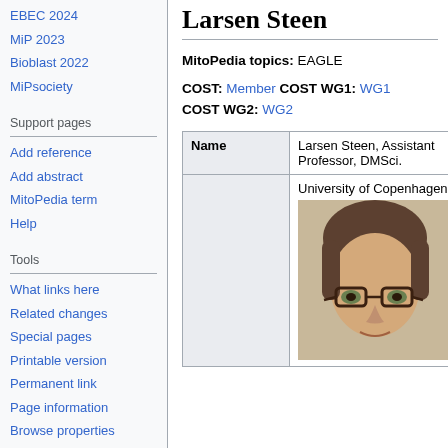EBEC 2024
MiP 2023
Bioblast 2022
MiPsociety
Support pages
Add reference
Add abstract
MitoPedia term
Help
Tools
What links here
Related changes
Special pages
Printable version
Permanent link
Page information
Browse properties
Larsen Steen
MitoPedia topics: EAGLE
COST: Member COST WG1: WG1 COST WG2: WG2
| Name |  |
| --- | --- |
| Name | Larsen Steen, Assistant Professor, DMSci. |
|  | University of Copenhagen |